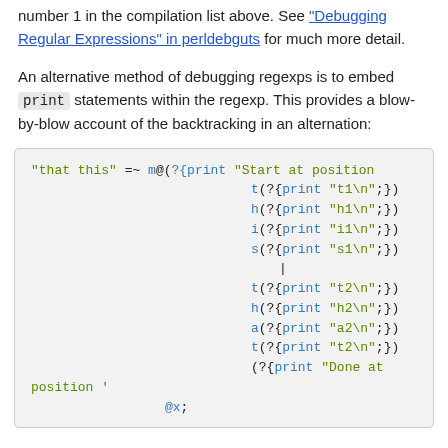number 1 in the compilation list above. See "Debugging Regular Expressions" in perldebguts for much more detail.
An alternative method of debugging regexps is to embed print statements within the regexp. This provides a blow-by-blow account of the backtracking in an alternation:
[Figure (screenshot): Code block showing Perl regex with embedded print statements for debugging, including 'that this' =~ m@(?{print "Start at position ...}) with t, h, i, s alternation branches and @x;]